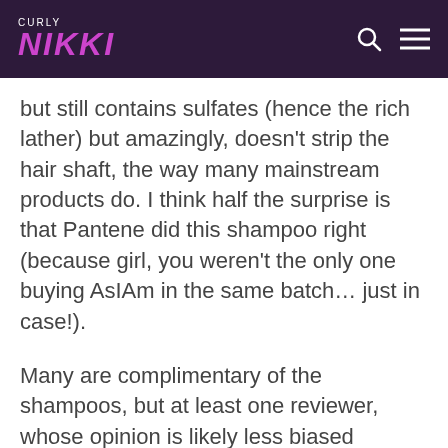CURLY NIKKI
but still contains sulfates (hence the rich lather) but amazingly, doesn't strip the hair shaft, the way many mainstream products do. I think half the surprise is that Pantene did this shampoo right (because girl, you weren't the only one buying AsIAm in the same batch… just in case!).
Many are complimentary of the shampoos, but at least one reviewer, whose opinion is likely less biased (viewer count is not as high as others, this ain't no sponsor situation)